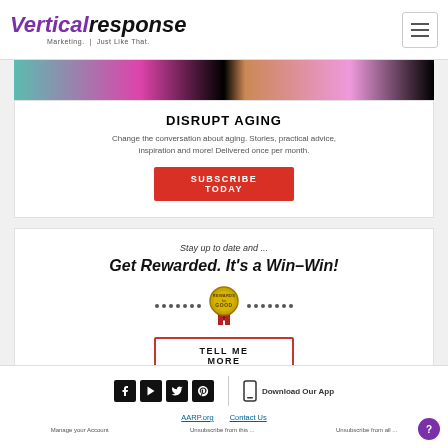VerticalResponse Marketing. Just Like That.
[Figure (photo): Image strip showing people sitting, partially cropped]
DISRUPT AGING
Change the conversation about aging. Stories, practical advice, inspiration and more! Delivered once per month.
SUBSCRIBE TODAY
Stay up to date and ...
Get Rewarded. It's a Win–Win!
[Figure (logo): Rewards for Good badge/seal with dots on either side]
TELL ME MORE
Social icons: Facebook, YouTube, Twitter, Pinterest | Download Our App | AARP.org | Contact Us | Manage your Account | Unsubscribe from this ... | Unsubscribe from all ...